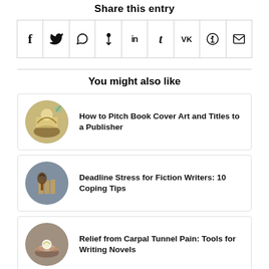Share this entry
[Figure (infographic): Share bar with social media icons: Facebook, Twitter, WhatsApp, Pinterest, LinkedIn, Tumblr, VK, Reddit, Email]
You might also like
How to Pitch Book Cover Art and Titles to a Publisher
Deadline Stress for Fiction Writers: 10 Coping Tips
Relief from Carpal Tunnel Pain: Tools for Writing Novels
Develop Your Intuition to Tap the Writing